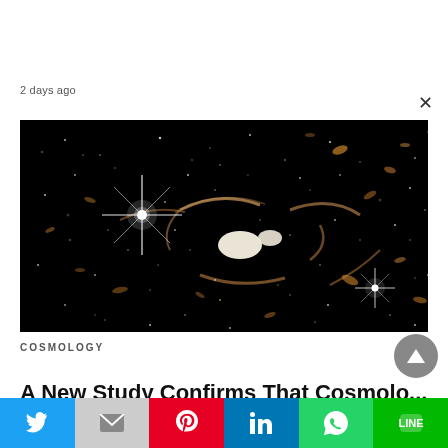2 days ago
[Figure (photo): Deep space image from James Webb Space Telescope showing galaxy cluster with gravitational lensing arcs, stars with diffraction spikes, and numerous distant galaxies against a black background.]
COSMOLOGY
A New Study Confirms That Cosmolo...